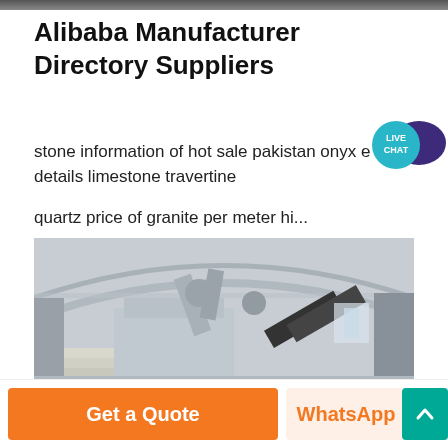Alibaba Manufacturer Directory Suppliers
stone information of hot sale pakistan onyx e details limestone travertine quartz price of granite per meter hi...
[Figure (photo): Interior of an industrial factory/warehouse with machinery, conveyor equipment, and stone processing equipment under a large arched metal roof.]
Get a Quote
WhatsApp